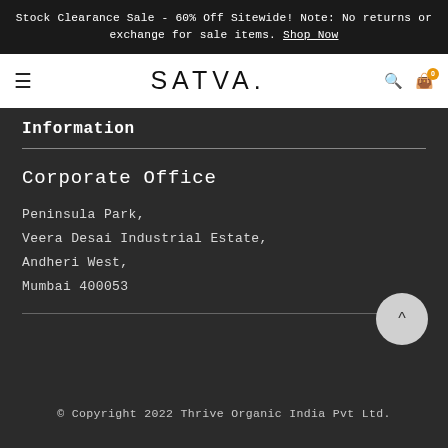Stock Clearance Sale - 60% Off Sitewide! Note: No returns or exchange for sale items. Shop Now
[Figure (logo): SATVA. brand logo with hamburger menu, search and cart icons in a white navigation bar]
Information
Corporate Office
Peninsula Park,
Veera Desai Industrial Estate,
Andheri West,
Mumbai 400053
© Copyright 2022 Thrive Organic India Pvt Ltd.